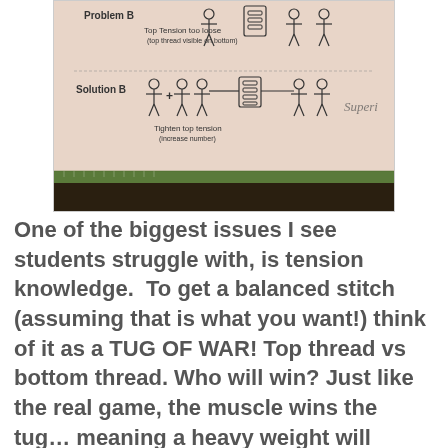[Figure (photo): A photograph of a sewing diagram showing 'Problem B' with 'Top Tension too loose (top thread visible on bottom)' and 'Solution B' with stick figures pulling threads on either side of a sewing machine bobbin area, with text 'Tighten top tension (increase number)' and 'Superior' brand watermark. Below the diagram is a green ruler/measuring tape. The bottom of the image shows a dark wooden table surface.]
One of the biggest issues I see students struggle with, is tension knowledge.  To get a balanced stitch (assuming that is what you want!) think of it as a TUG OF WAR! Top thread vs bottom thread. Who will win? Just like the real game, the muscle wins the tug… meaning a heavy weight will almost always out-pull a light-weight!  So if you use a 40